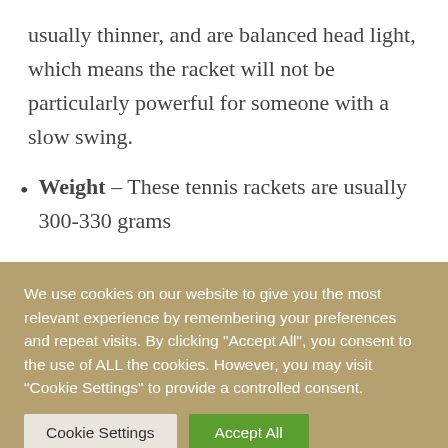usually thinner, and are balanced head light, which means the racket will not be particularly powerful for someone with a slow swing.
Weight – These tennis rackets are usually 300-330 grams
This racket is perfect for someone who has a fast swing and wants to...
We use cookies on our website to give you the most relevant experience by remembering your preferences and repeat visits. By clicking "Accept All", you consent to the use of ALL the cookies. However, you may visit "Cookie Settings" to provide a controlled consent.